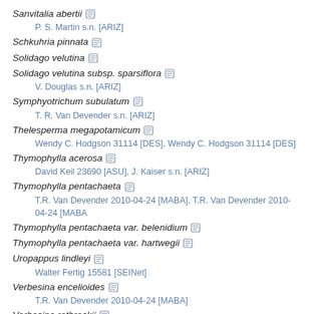Sanvitalia abertii
P. S. Martin s.n. [ARIZ]
Schkuhria pinnata
Solidago velutina
Solidago velutina subsp. sparsiflora
V. Douglas s.n. [ARIZ]
Symphyotrichum subulatum
T. R. Van Devender s.n. [ARIZ]
Thelesperma megapotamicum
Wendy C. Hodgson 31114 [DES], Wendy C. Hodgson 31114 [DES]
Thymophylla acerosa
David Keil 23690 [ASU], J. Kaiser s.n. [ARIZ]
Thymophylla pentachaeta
T.R. Van Devender 2010-04-24 [MABA], T.R. Van Devender 2010-04-24 [MABA
Thymophylla pentachaeta var. belenidium
Thymophylla pentachaeta var. hartwegii
Uropappus lindleyi
Walter Fertig 15581 [SEINet]
Verbesina encelioides
T.R. Van Devender 2010-04-24 [MABA]
Verbesina rothrockii
J. F. Wiens 92-475 [ARIZ]